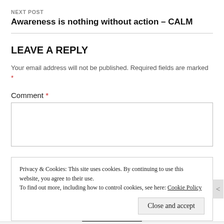NEXT POST
Awareness is nothing without action – CALM
LEAVE A REPLY
Your email address will not be published. Required fields are marked *
Comment *
Privacy & Cookies: This site uses cookies. By continuing to use this website, you agree to their use.
To find out more, including how to control cookies, see here: Cookie Policy
Close and accept